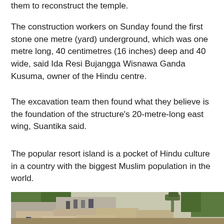them to reconstruct the temple.
The construction workers on Sunday found the first stone one metre (yard) underground, which was one metre long, 40 centimetres (16 inches) deep and 40 wide, said Ida Resi Bujangga Wisnawa Ganda Kusuma, owner of the Hindu centre.
The excavation team then found what they believe is the foundation of the structure's 20-metre-long east wing, Suantika said.
The popular resort island is a pocket of Hindu culture in a country with the biggest Muslim population in the world.
[Figure (photo): Outdoor excavation site showing large ancient stone blocks arranged on the ground with workers and people seated in the background, surrounded by trees and vegetation.]